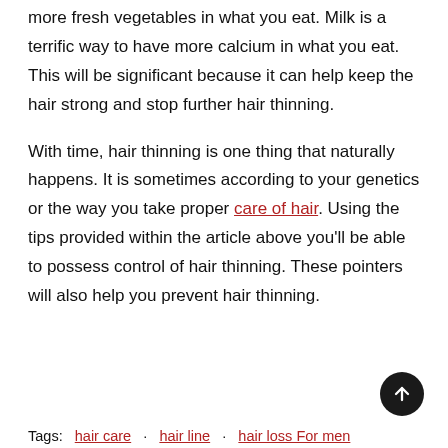more fresh vegetables in what you eat. Milk is a terrific way to have more calcium in what you eat. This will be significant because it can help keep the hair strong and stop further hair thinning.
With time, hair thinning is one thing that naturally happens. It is sometimes according to your genetics or the way you take proper care of hair. Using the tips provided within the article above you'll be able to possess control of hair thinning. These pointers will also help you prevent hair thinning.
Tags:   hair care   ·   hair line   ·   hair loss For men